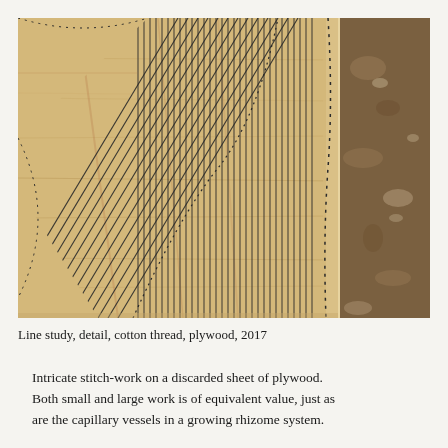[Figure (photo): Close-up detail photograph of intricate stitch-work using cotton thread on a plywood surface. The image shows geometric diamond/chevron patterns made of parallel dark lines (thread) on light wood grain, with dotted outlines. Part of the image on the right shows a darker, mottled background surface.]
Line study, detail, cotton thread, plywood, 2017
Intricate stitch-work on a discarded sheet of plywood. Both small and large work is of equivalent value, just as are the capillary vessels in a growing rhizome system.